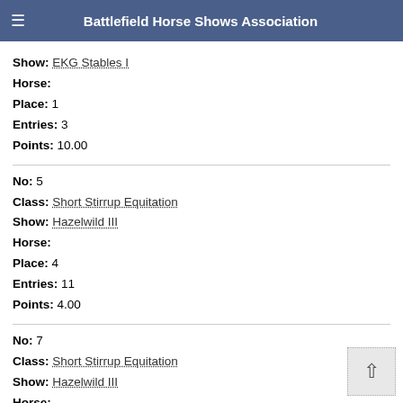Battlefield Horse Shows Association
Show: EKG Stables I
Horse:
Place: 1
Entries: 3
Points: 10.00
No: 5
Class: Short Stirrup Equitation
Show: Hazelwild III
Horse:
Place: 4
Entries: 11
Points: 4.00
No: 7
Class: Short Stirrup Equitation
Show: Hazelwild III
Horse:
Place: 5
Entries: 11
Points: 3.00